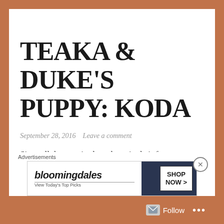TEAKA & DUKE'S PUPPY: KODA
September 28, 2016   Leave a comment
Since all the puppies have been in their forever homes for a while now we thought it would be fun to share with you what some of them have been up too. Meet Koda He was the last of Teaka & Duke's puppies to find a home, but don't
[Figure (screenshot): Bloomingdale's advertisement banner with shop now button and woman wearing a hat]
Follow